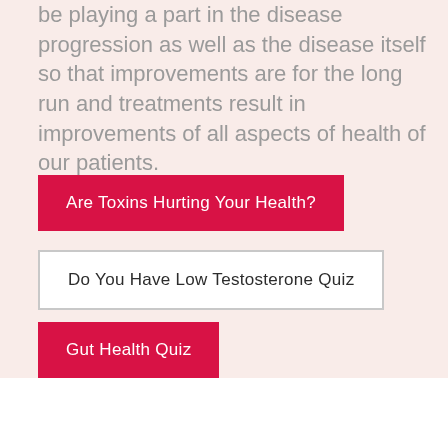be playing a part in the disease progression as well as the disease itself so that improvements are for the long run and treatments result in improvements of all aspects of health of our patients.
Are Toxins Hurting Your Health?
Do You Have Low Testosterone Quiz
Gut Health Quiz
Fill out the New Patient Inquiry Form and we will